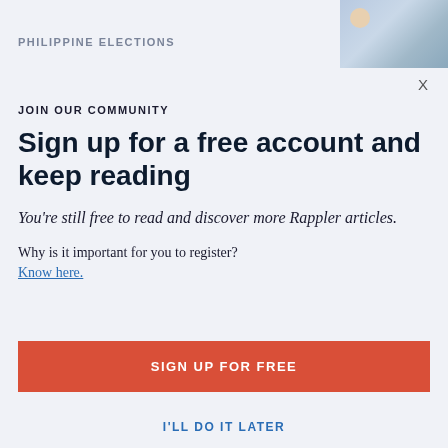PHILIPPINE ELECTIONS
[Figure (photo): Group photo of people, some wearing masks]
X
JOIN OUR COMMUNITY
Sign up for a free account and keep reading
You're still free to read and discover more Rappler articles.
Why is it important for you to register?
Know here.
SIGN UP FOR FREE
I'LL DO IT LATER